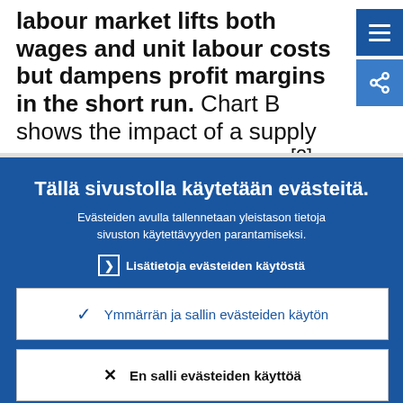labour market lifts both wages and unit labour costs but dampens profit margins in the short run. Chart B shows the impact of a supply shock in the labour market[2] from the New Area-Wide Model on the GDP deflator...
Tällä sivustolla käytetään evästeitä.
Evästeiden avulla tallennetaan yleistason tietoja sivuston käytettävyyden parantamiseksi.
Lisätietoja evästeiden käytöstä
Ymmärrän ja sallin evästeiden käytön
En salli evästeiden käyttöä